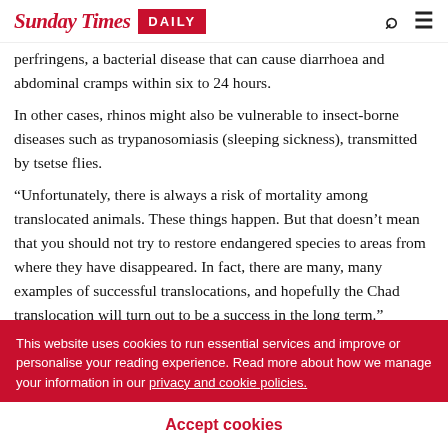Sunday Times DAILY
perfringens, a bacterial disease that can cause diarrhoea and abdominal cramps within six to 24 hours.
In other cases, rhinos might also be vulnerable to insect-borne diseases such as trypanosomiasis (sleeping sickness), transmitted by tsetse flies.
“Unfortunately, there is always a risk of mortality among translocated animals. These things happen. But that doesn’t mean that you should not try to restore endangered species to areas from where they have disappeared. In fact, there are many, many examples of successful translocations, and hopefully the Chad translocation will turn out to be a success in the long term.”
This website uses cookies to run essential services and improve or personalise your reading experience. Read more about how we manage your information in our privacy and cookie policies.
Accept cookies